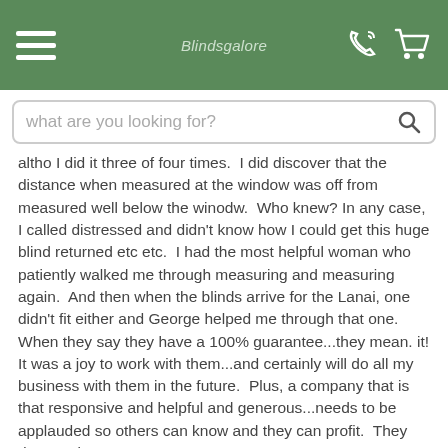Blindsgalore [logo/header with hamburger menu, phone icon, cart icon]
what are you looking for?
altho I did it three of four times.  I did discover that the distance when measured at the window was off from measured well below the winodw.  Who knew? In any case, I called distressed and didn't know how I could get this huge blind returned etc etc.  I had the most helpful woman who patiently walked me through measuring and measuring again.  And then when the blinds arrive for the Lanai, one didn't fit either and George helped me through that one.  When they say they have a 100% guarantee...they mean. it! It was a joy to work with them...and certainly will do all my business with them in the future.  Plus, a company that is that responsive and helpful and generous...needs to be applauded so others can know and they can profit.  They deserve it!
view this product